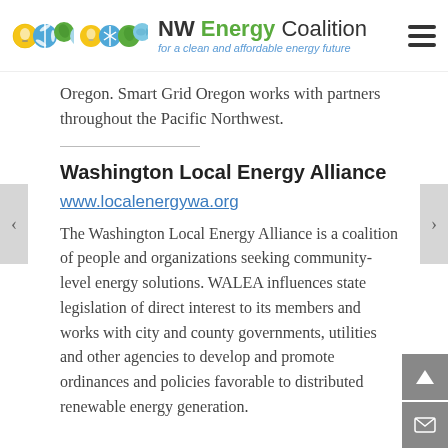NW Energy Coalition — for a clean and affordable energy future
Oregon. Smart Grid Oregon works with partners throughout the Pacific Northwest.
Washington Local Energy Alliance
www.localenergywa.org
The Washington Local Energy Alliance is a coalition of people and organizations seeking community-level energy solutions. WALEA influences state legislation of direct interest to its members and works with city and county governments, utilities and other agencies to develop and promote ordinances and policies favorable to distributed renewable energy generation.